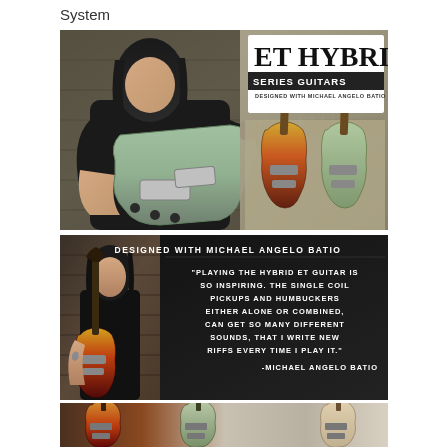System
[Figure (photo): Main promotional photo showing guitarist Michael Angelo Batio playing a teal/green ET Hybrid guitar, with ET Hybrid Series Guitars logo overlay and guitar product shots in background]
[Figure (photo): Second photo panel showing Michael Angelo Batio with a sunburst guitar, with quote text: 'Playing the Hybrid ET Guitar is so inspiring. The single coil pickups and humbuckers either alone or combined, can get so many different sounds, that I write new riffs every time I play it.' -Michael Angelo Batio]
[Figure (photo): Bottom strip showing three ET Hybrid guitars: sunburst, green/teal, and natural finish]